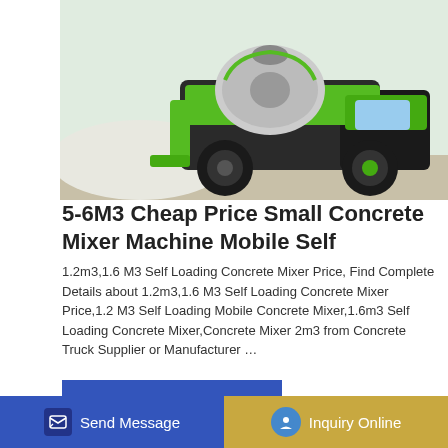[Figure (photo): Green self-loading concrete mixer truck, mobile machine, photographed against a light background]
5-6M3 Cheap Price Small Concrete Mixer Machine Mobile Self
1.2m3,1.6 M3 Self Loading Concrete Mixer Price, Find Complete Details about 1.2m3,1.6 M3 Self Loading Concrete Mixer Price,1.2 M3 Self Loading Mobile Concrete Mixer,1.6m3 Self Loading Concrete Mixer,Concrete Mixer 2m3 from Concrete Truck Supplier or Manufacturer …
[Figure (photo): Partial view of another concrete mixer product or facility, partially visible at the bottom of the page]
Send Message | Inquiry Online